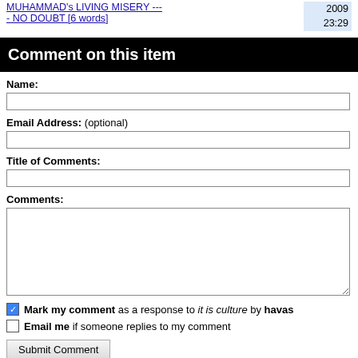MUHAMMAD's LIVING MISERY ---- NO DOUBT [6 words]
2009
23:29
Comment on this item
Name:
Email Address: (optional)
Title of Comments:
Comments:
Mark my comment as a response to it is culture by havas
Email me if someone replies to my comment
Submit Comment
Note: Opinions expressed in comments are those of the authors alone and not necessarily those of Daniel Pipes. Original writing only, please. Comments are